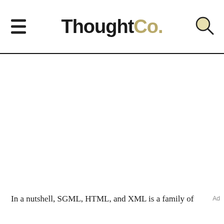ThoughtCo.
In a nutshell, SGML, HTML, and XML is a family of